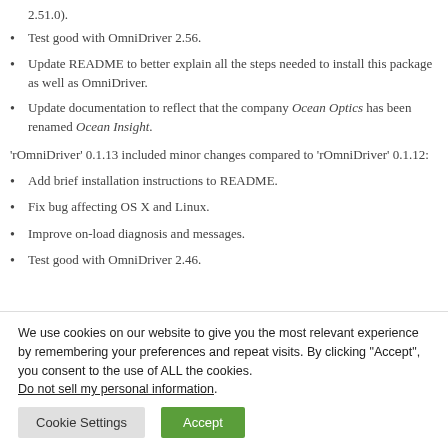2.51.0).
Test good with OmniDriver 2.56.
Update README to better explain all the steps needed to install this package as well as OmniDriver.
Update documentation to reflect that the company Ocean Optics has been renamed Ocean Insight.
‘rOmniDriver’ 0.1.13 included minor changes compared to ‘rOmniDriver’ 0.1.12:
Add brief installation instructions to README.
Fix bug affecting OS X and Linux.
Improve on-load diagnosis and messages.
Test good with OmniDriver 2.46.
We use cookies on our website to give you the most relevant experience by remembering your preferences and repeat visits. By clicking “Accept”, you consent to the use of ALL the cookies. Do not sell my personal information.
Cookie Settings | Accept